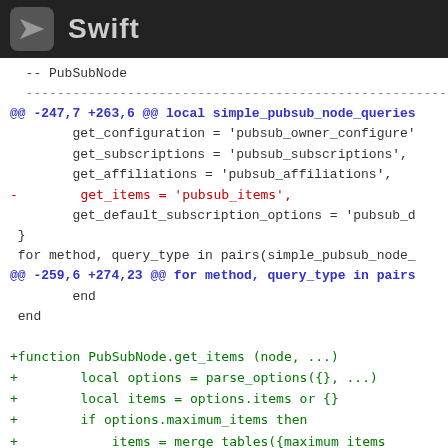Swift
-- PubSubNode
------------------------------------------------------------
@@ -247,7 +263,6 @@ local simple_pubsub_node_queries
        get_configuration = 'pubsub_owner_configure'
        get_subscriptions = 'pubsub_subscriptions',
        get_affiliations = 'pubsub_affiliations',
-        get_items = 'pubsub_items',
        get_default_subscription_options = 'pubsub_d
 }
 for method, query_type in pairs(simple_pubsub_node_
@@ -259,6 +274,23 @@ for method, query_type in pairs
        end
 end

+function PubSubNode.get_items (node, ...)
+        local options = parse_options({}, ...)
+        local items = options.items or {}
+        if options.maximum_items then
+            items = merge_tables({maximum_items